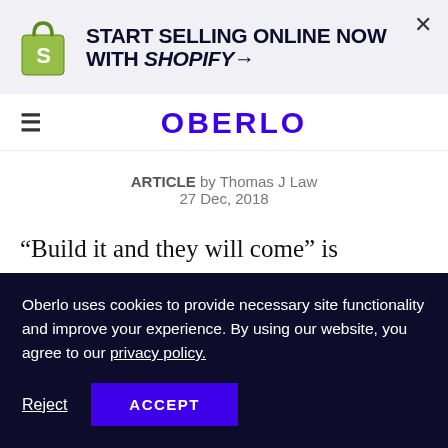[Figure (logo): Shopify advertisement banner with Shopify bag logo and text 'START SELLING ONLINE NOW WITH SHOPIFY→' and a close X button]
OBERLO
ARTICLE by Thomas J Law
27 Dec, 2018
“Build it and they will come” is absolutely
Oberlo uses cookies to provide necessary site functionality and improve your experience. By using our website, you agree to our privacy policy.
Reject  ACCEPT